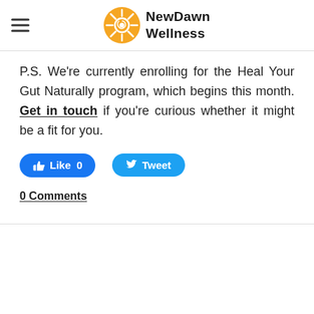New Dawn Wellness
P.S. We're currently enrolling for the Heal Your Gut Naturally program, which begins this month. Get in touch if you're curious whether it might be a fit for you.
[Figure (screenshot): Facebook Like button showing 'Like 0' and Twitter Tweet button]
0 Comments